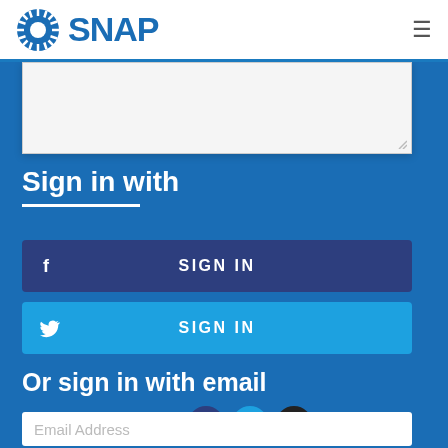SNAP
[Figure (screenshot): Text area input box, partially visible, white background with resize handle]
Sign in with
[Figure (infographic): Facebook Sign In button - dark navy blue with Facebook icon and SIGN IN text]
[Figure (infographic): Twitter Sign In button - light blue with Twitter bird icon and SIGN IN text]
Or sign in with email
[Figure (infographic): Share bar with Facebook, Twitter, and email icon circles]
Email Address